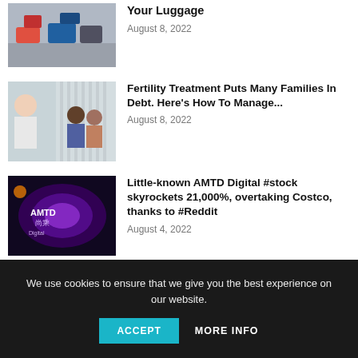[Figure (photo): Luggage/suitcases at an airport]
Your Luggage
August 8, 2022
[Figure (photo): Doctor speaking with a couple in a medical office]
Fertility Treatment Puts Many Families In Debt. Here’s How To Manage...
August 8, 2022
[Figure (photo): AMTD Digital illuminated sign in purple]
Little-known AMTD Digital #stock skyrockets 21,000%, overtaking Costco, thanks to #Reddit
August 4, 2022
[Figure (photo): Mega Millions lottery partial image]
Mega Millions jackpot now 3rd
We use cookies to ensure that we give you the best experience on our website.